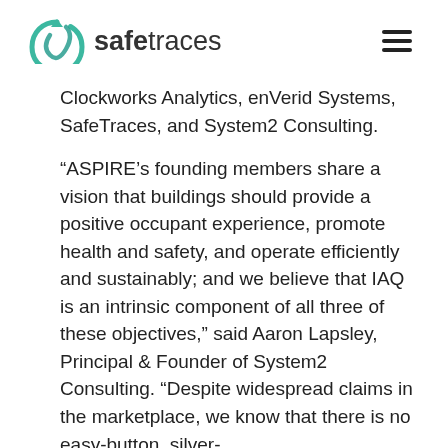safetraces
Clockworks Analytics, enVerid Systems, SafeTraces, and System2 Consulting.
“ASPIRE’s founding members share a vision that buildings should provide a positive occupant experience, promote health and safety, and operate efficiently and sustainably; and we believe that IAQ is an intrinsic component of all three of these objectives,” said Aaron Lapsley, Principal & Founder of System2 Consulting. “Despite widespread claims in the marketplace, we know that there is no easy-button, silver-